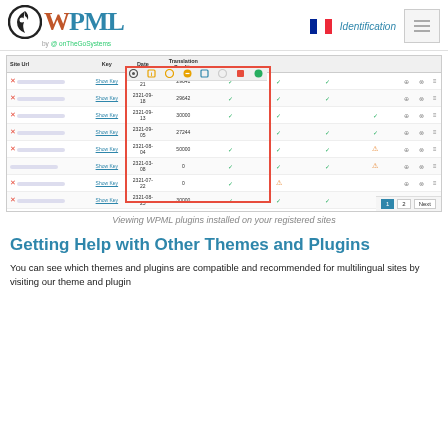WPML by onTheGoSystems | Identification
[Figure (screenshot): Screenshot of WPML account page showing a table of registered sites with columns: Site Url, Key, Date, Translation Credits, and plugin icons. A red rectangle highlights the plugin icon columns. Multiple rows show checkmarks and warning triangles. Pagination shows pages 1, 2, Next.]
Viewing WPML plugins installed on your registered sites
Getting Help with Other Themes and Plugins
You can see which themes and plugins are compatible and recommended for multilingual sites by visiting our theme and plugin